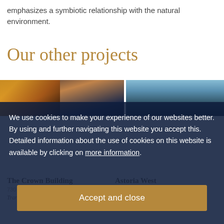emphasizes a symbiotic relationship with the natural environment.
Our other projects
[Figure (photo): Two project photos side by side: left shows a nighttime cityscape with an illuminated historic building; right shows a building facade against blue sky with tree branches.]
We use cookies to make your experience of our websites better. By using and further navigating this website you accept this. Detailed information about the use of cookies on this website is available by clicking on more information.
Accept and close
The Crown Building
730 Fifth Avenue, New York, NY
Transforming an iconic, historic...
Astoria West
26-01 4th Blvd, Astoria, NY
Dynamic Waterfront Community with...